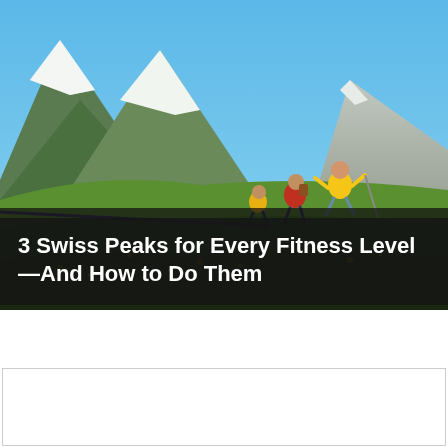[Figure (photo): People hiking on a Swiss alpine mountain meadow with snow-capped peaks and blue sky in the background. A group of hikers, including children and adults, are running/walking up a green grassy slope with yellow wildflowers. Rocky mountain peaks visible in the background.]
3 Swiss Peaks for Every Fitness Level—And How to Do Them